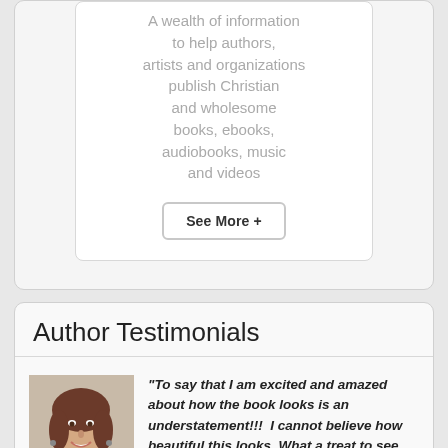A wealth of information to help authors, artists and organizations publish Christian and wholesome books, ebooks, audiobooks, music and videos
See More +
Author Testimonials
[Figure (photo): Headshot photo of a smiling woman with brown hair]
“To say that I am excited and amazed about how the book looks is an understatement!!!  I cannot believe how beautiful this looks. What a treat to see the ‘finished product!’ Thank you so much for